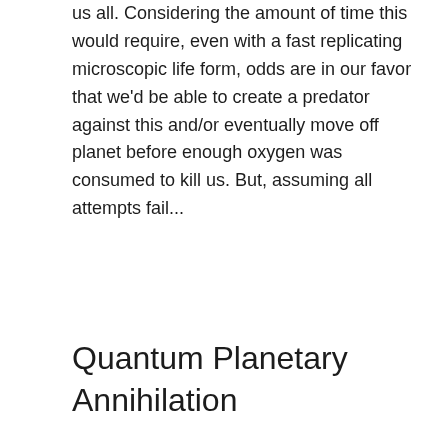us all.  Considering the amount of time this would require, even with a fast replicating microscopic life form, odds are in our favor that we'd be able to create a predator against this and/or eventually move off planet before enough oxygen was consumed to kill us.  But, assuming all attempts fail...
Quantum Planetary Annihilation